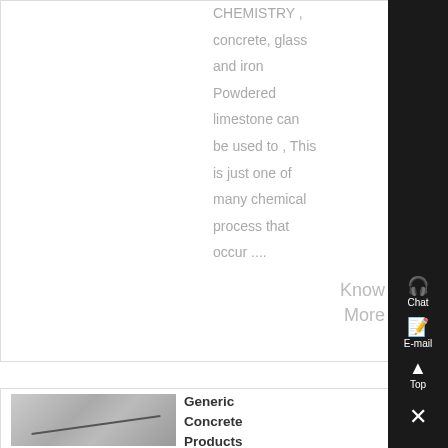CHEMISTRY , concrete, glass and iron Powdered limestone can be used to , This is just one of many chemical process that occur ....
Know More
[Figure (photo): Photo of concrete surface with a crack line]
Generic Concrete Products with
[Figure (other): Right sidebar with Chat, E-mail, Top, and close (X) icons on black background]